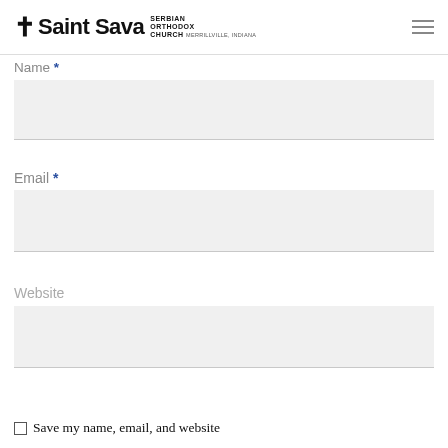† Saint Sava SERBIAN ORTHODOX CHURCH Merrillville, Indiana
Name *
Email *
Website
Save my name, email, and website